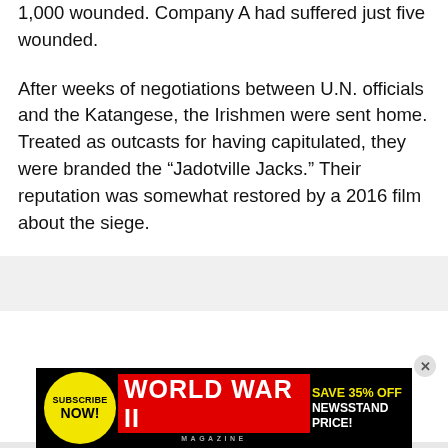1,000 wounded. Company A had suffered just five wounded.
After weeks of negotiations between U.N. officials and the Katangese, the Irishmen were sent home. Treated as outcasts for having capitulated, they were branded the “Jadotville Jacks.” Their reputation was somewhat restored by a 2016 film about the siege.
[Figure (other): Advertisement banner for World War II Magazine: Subscribe Now! Save 35% off newsstand price.]